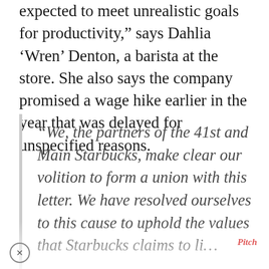expected to meet unrealistic goals for productivity,” says Dahlia ‘Wren’ Denton, a barista at the store. She also says the company promised a wage hike earlier in the year that was delayed for unspecified reasons.
“We, the partners of the 41st and Main Starbucks, make clear our volition to form a union with this letter. We have resolved ourselves to this cause to uphold the values that Starbucks claims to li…